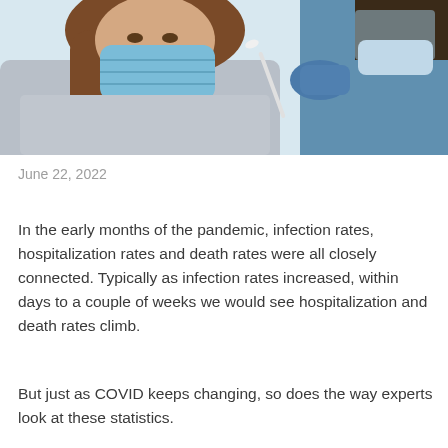[Figure (photo): A healthcare worker wearing blue gloves and a face shield administers a nasal swab test to a female patient wearing a light blue surgical mask and a gray knit sweater, with long wavy brown hair.]
June 22, 2022
In the early months of the pandemic, infection rates, hospitalization rates and death rates were all closely connected. Typically as infection rates increased, within days to a couple of weeks we would see hospitalization and death rates climb.
But just as COVID keeps changing, so does the way experts look at these statistics.